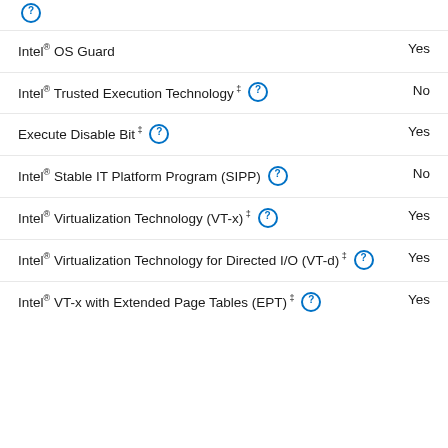? (help icon)
Intel® OS Guard — Yes
Intel® Trusted Execution Technology ‡ — No
Execute Disable Bit ‡ — Yes
Intel® Stable IT Platform Program (SIPP) — No
Intel® Virtualization Technology (VT-x) ‡ — Yes
Intel® Virtualization Technology for Directed I/O (VT-d) ‡ — Yes
Intel® VT-x with Extended Page Tables (EPT) ‡ — Yes